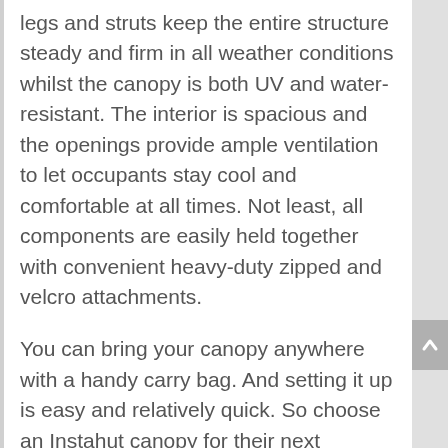legs and struts keep the entire structure steady and firm in all weather conditions whilst the canopy is both UV and water-resistant. The interior is spacious and the openings provide ample ventilation to let occupants stay cool and comfortable at all times. Not least, all components are easily held together with convenient heavy-duty zipped and velcro attachments.
You can bring your canopy anywhere with a handy carry bag. And setting it up is easy and relatively quick. So choose an Instahut canopy for their next outdoor bash or gathering and enjoy the festivities with total peace of mind.
Note: The gazebo is not designed as a permanent structure and it is not recommended to be used under extreme